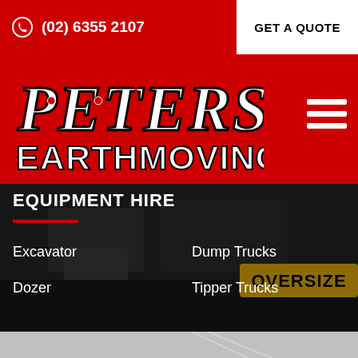(02) 6355 2107 | GET A QUOTE
[Figure (logo): Peters Earthmoving logo — stylized bold white text with red accents on red background]
EQUIPMENT HIRE
Excavator
Dump Trucks
Dozer
Tipper Trucks